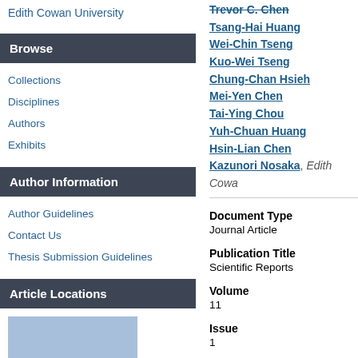Edith Cowan University
Browse
Collections
Disciplines
Authors
Exhibits
Author Information
Author Guidelines
Contact Us
Thesis Submission Guidelines
Article Locations
[Figure (illustration): Blue rectangle placeholder image for article location]
Trevor C. Chen
Tsang-Hai Huang
Wei-Chin Tseng
Kuo-Wei Tseng
Chung-Chan Hsieh
Mei-Yen Chen
Tai-Ying Chou
Yuh-Chuan Huang
Hsin-Lian Chen
Kazunori Nosaka, Edith Cowan
Document Type
Journal Article
Publication Title
Scientific Reports
Volume
11
Issue
1
Publisher
Nature